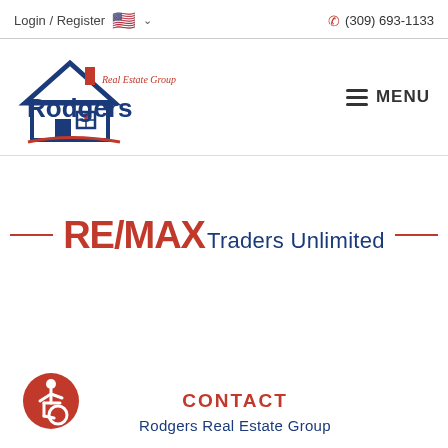Login / Register   🇺🇸 ∨   (309) 693-1133
[Figure (logo): Rodgers Real Estate Group logo with house icon in blue and red]
MENU
[Figure (logo): RE/MAX Traders Unlimited banner with red horizontal lines on either side]
[Figure (logo): Wheelchair accessibility icon in red circle]
CONTACT
Rodgers Real Estate Group